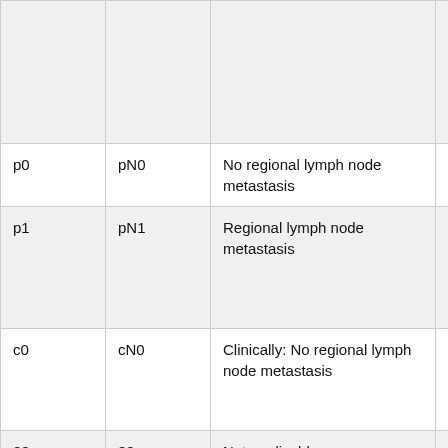| Code | TNM Code | Description | Notes |
| --- | --- | --- | --- |
|  |  |  | Surgica no region Involve nodes not Physician informatio |
| p0 | pN0 | No regional lymph node metastasis |  |
| p1 | pN1 | Regional lymph node metastasis | Regional Lymph no

Stated as |
| c0 | cN0 | Clinically: No regional lymph node metastasis | Use only where the primary ar evaluated |
| 88 | 88 | Not applicable | Primary si Death cer |
| <BLANK> | BLANK | See Registrar | Pathologi |